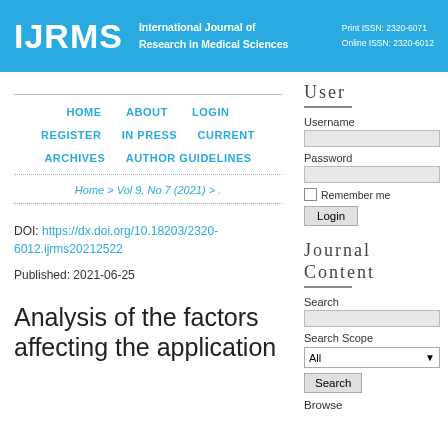IJRMS | International Journal of Research in Medical Sciences | Print ISSN: 2320-6071 | Online ISSN: 2320-6012
HOME   ABOUT   LOGIN   REGISTER   IN PRESS   CURRENT   ARCHIVES   AUTHOR GUIDELINES
Home > Vol 9, No 7 (2021) > .
DOI: https://dx.doi.org/10.18203/2320-6012.ijrms20212522
Published: 2021-06-25
Analysis of the factors affecting the application
User
Username
Password
Remember me
Login
Journal Content
Search
Search Scope
All
Search
Browse